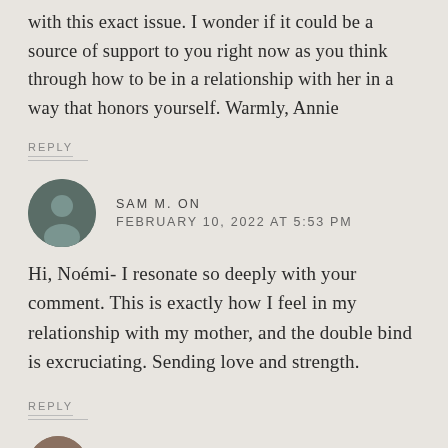with this exact issue. I wonder if it could be a source of support to you right now as you think through how to be in a relationship with her in a way that honors yourself. Warmly, Annie
REPLY
SAM M. ON
FEBRUARY 10, 2022 AT 5:53 PM
Hi, Noémi- I resonate so deeply with your comment. This is exactly how I feel in my relationship with my mother, and the double bind is excruciating. Sending love and strength.
REPLY